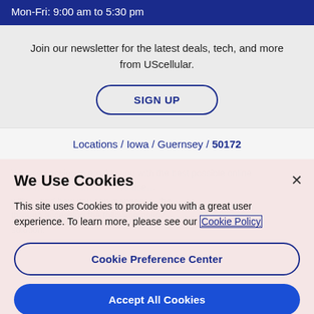Mon-Fri: 9:00 am to 5:30 pm
Join our newsletter for the latest deals, tech, and more from UScellular.
SIGN UP
Locations / Iowa / Guernsey / 50172
We Use Cookies
This site uses Cookies to provide you with a great user experience. To learn more, please see our Cookie Policy
Cookie Preference Center
Accept All Cookies